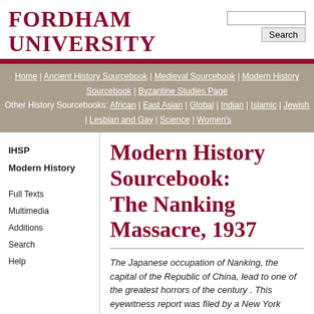FORDHAM UNIVERSITY
Home | Ancient History Sourcebook | Medieval Sourcebook | Modern History Sourcebook | Byzantine Studies Page
Other History Sourcebooks: African | East Asian | Global | Indian | Islamic | Jewish | Lesbian and Gay | Science | Women's
Modern History Sourcebook: The Nanking Massacre, 1937
The Japanese occupation of Nanking, the capital of the Republic of China, lead to one of the greatest horrors of the century . This eyewitness report was filed by a New York Times reporter.